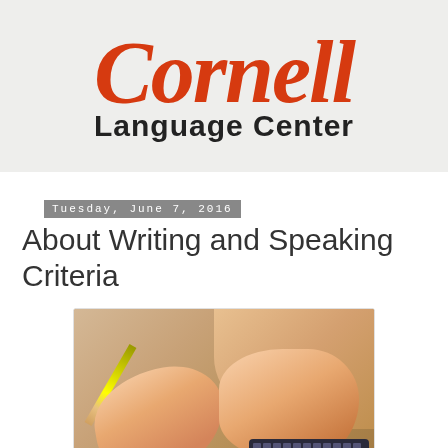[Figure (logo): Cornell Language Center logo with red italic 'Cornell' text and bold 'Language Center' subtitle on a light gray background]
Tuesday, June 7, 2016
About Writing and Speaking Criteria
[Figure (photo): Close-up photo of hands writing with a pencil and typing on a keyboard/calculator]